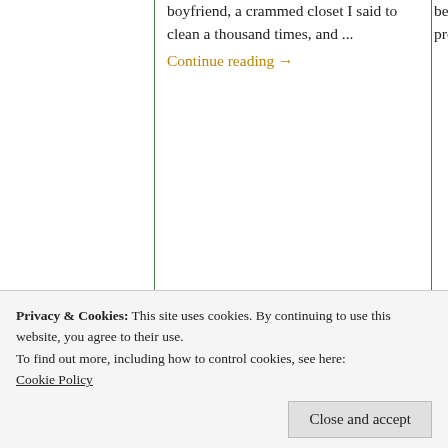boyfriend, a crammed closet I said to clean a thousand times, and ...
Continue reading →
becu... prote...
DECEMBER 30, 2015 · 11 COMMENTS
ENT... T...
[Figure (photo): Close-up photo of silver rings with gemstones on a braided cord]
[Figure (photo): Photo of dried autumn leaves on the ground with a small white flower]
[Figure (photo): Partial photo of a dark landscape, possibly a lake or river at night]
Privacy & Cookies: This site uses cookies. By continuing to use this website, you agree to their use.
To find out more, including how to control cookies, see here: Cookie Policy
Close and accept
"Penny for them?" My
ote... th... s... m...